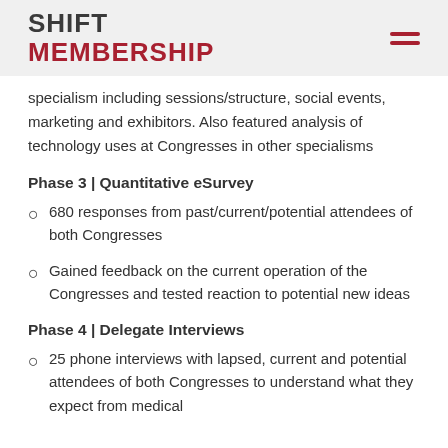SHIFT MEMBERSHIP
specialism including sessions/structure, social events, marketing and exhibitors. Also featured analysis of technology uses at Congresses in other specialisms
Phase 3 | Quantitative eSurvey
680 responses from past/current/potential attendees of both Congresses
Gained feedback on the current operation of the Congresses and tested reaction to potential new ideas
Phase 4 | Delegate Interviews
25 phone interviews with lapsed, current and potential attendees of both Congresses to understand what they expect from medical